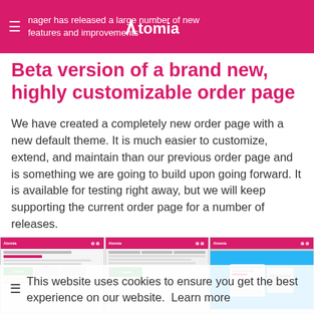manager has released a large number of new features and improvements
Beta version of a brand new, highly customizable order page
We have created a completely new order page with a new default theme. It is much easier to customize, extend, and maintain than our previous order page and is something we are going to build upon going forward. It is available for testing right away, but we will keep supporting the current order page for a number of releases.
[Figure (screenshot): Three screenshots of Atomia order page interface side by side]
This website uses cookies to ensure you get the best experience on our website.  Learn more